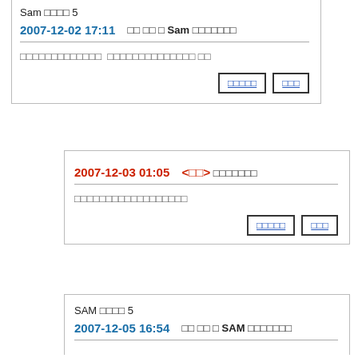Sam □□□□ 5
2007-12-02 17:11   □□ □□ □ Sam □□□□□□□
□□□□□□□□□□□□□ □□□□□□□□□□□□□□ □□
□□□□□□  □□□
2007-12-03 01:05   <□□> □□□□□□□
□□□□□□□□□□□□□□□□□□
□□□□□□  □□□
SAM □□□□ 5
2007-12-05 16:54   □□ □□ □ SAM □□□□□□□